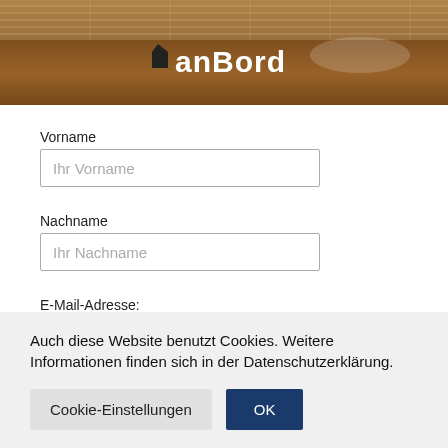[Figure (photo): Photo of a boat railing or wooden surface with white text 'anBord' and a small bird/logo icon]
Vorname
Ihr Vorname
Nachname
Ihr Nachname
E-Mail-Adresse:
Auch diese Website benutzt Cookies. Weitere Informationen finden sich in der Datenschutzerklärung.
Cookie-Einstellungen
OK